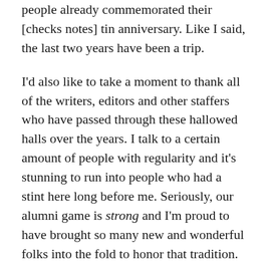people already commemorated their [checks notes] tin anniversary. Like I said, the last two years have been a trip.
I'd also like to take a moment to thank all of the writers, editors and other staffers who have passed through these hallowed halls over the years. I talk to a certain amount of people with regularity and it's stunning to run into people who had a stint here long before me. Seriously, our alumni game is strong and I'm proud to have brought so many new and wonderful folks into the fold to honor that tradition.
Something I don't get to do a ton of these days is interviewing folks. Part of that is a factor of my lifestyle, part of it is the pandemic. But I actually love getting to interview people so I thought it would be pretty fun to actually turn